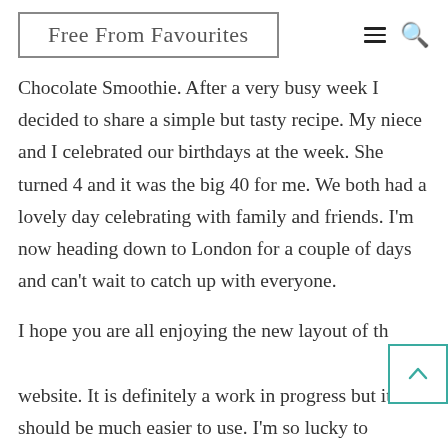Free From Favourites
Chocolate Smoothie. After a very busy week I decided to share a simple but tasty recipe. My niece and I celebrated our birthdays at the week. She turned 4 and it was the big 40 for me. We both had a lovely day celebrating with family and friends. I'm now heading down to London for a couple of days and can't wait to catch up with everyone.
I hope you are all enjoying the new layout of the website. It is definitely a work in progress but it should be much easier to use. I'm so lucky to